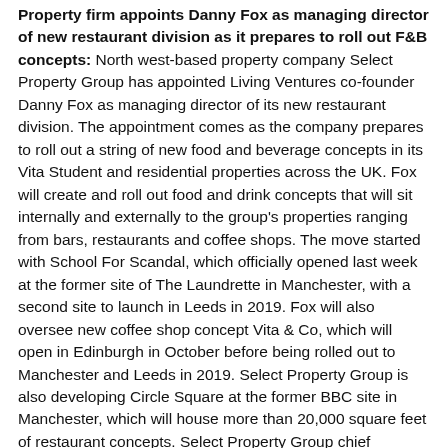Property firm appoints Danny Fox as managing director of new restaurant division as it prepares to roll out F&B concepts: North west-based property company Select Property Group has appointed Living Ventures co-founder Danny Fox as managing director of its new restaurant division. The appointment comes as the company prepares to roll out a string of new food and beverage concepts in its Vita Student and residential properties across the UK. Fox will create and roll out food and drink concepts that will sit internally and externally to the group's properties ranging from bars, restaurants and coffee shops. The move started with School For Scandal, which officially opened last week at the former site of The Laundrette in Manchester, with a second site to launch in Leeds in 2019. Fox will also oversee new coffee shop concept Vita & Co, which will open in Edinburgh in October before being rolled out to Manchester and Leeds in 2019. Select Property Group is also developing Circle Square at the former BBC site in Manchester, which will house more than 20,000 square feet of restaurant concepts. Select Property Group chief executive Mark Stott said: “It makes perfect sense for us to create exciting new food and beverage concepts in our residential and student dwellings across the UK. This is the next phase in our business development plan and we’re delighted to have Danny on board to develop new concepts to suit the rapid expansion plans we have in place.” Fox added: “This is a great platform to be creative and different. We already have several new concepts planned for this year and look forward